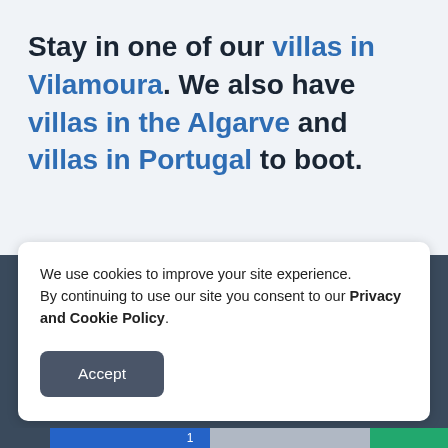Stay in one of our villas in Vilamoura. We also have villas in the Algarve and villas in Portugal to boot.
We use cookies to improve your site experience.
By continuing to use our site you consent to our Privacy and Cookie Policy.
Accept